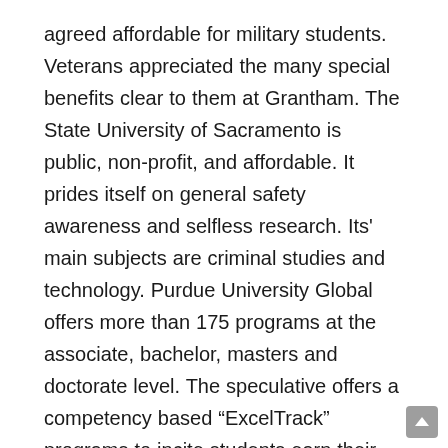agreed affordable for military students. Veterans appreciated the many special benefits clear to them at Grantham. The State University of Sacramento is public, non-profit, and affordable. It prides itself on general safety awareness and selfless research. Its' main subjects are criminal studies and technology. Purdue University Global offers more than 175 programs at the associate, bachelor, masters and doctorate level. The speculative offers a competency based “ExcelTrack” programs to incite students earn their degrees faster at a humiliate cost.  As in the aerate of the new online schools, Purdue is with public and non-profit, and thus, more affordable than a private school. This the academy offers careers in the fields of business, arts, science, and education. It in addition to provides studies in advanced arts and history. These online universities meet the